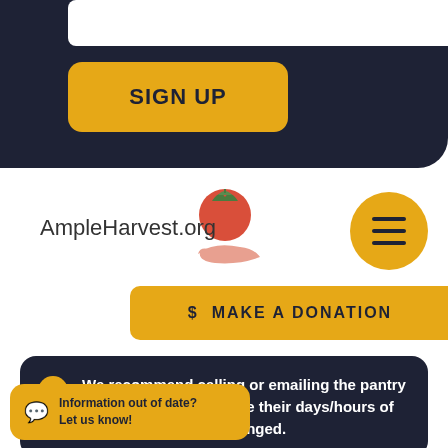[Figure (screenshot): Top dark navy banner with a white input field and a yellow rounded 'SIGN UP' button]
[Figure (logo): AmpleHarvest.org logo with tomato and hands graphic]
[Figure (other): Yellow circular hamburger menu icon with three horizontal lines]
$ MAKE A DONATION
We recommend calling or emailing the pantry ahead of time to be sure their days/hours of operation have not changed.
FREUDENBERG E2 SUPPORTS ALL PANTRY LISTINGS IN THE STATE OF TS
Information out of date? Let us know!